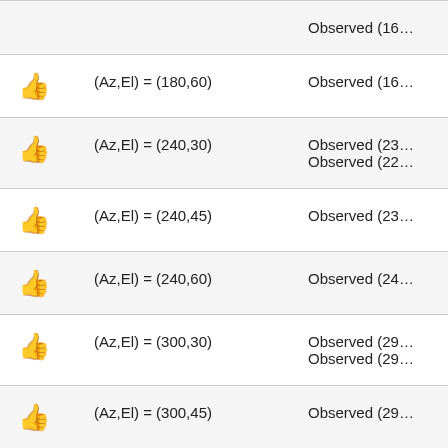|  | Coordinates | Observation |
| --- | --- | --- |
| 👍 | (Az,El) = (180,60) | Observed (16… |
| 👍 | (Az,El) = (240,30) | Observed (23…
Observed (22… |
| 👍 | (Az,El) = (240,45) | Observed (23… |
| 👍 | (Az,El) = (240,60) | Observed (24… |
| 👍 | (Az,El) = (300,30) | Observed (29…
Observed (29… |
| 👍 | (Az,El) = (300,45) | Observed (29… |